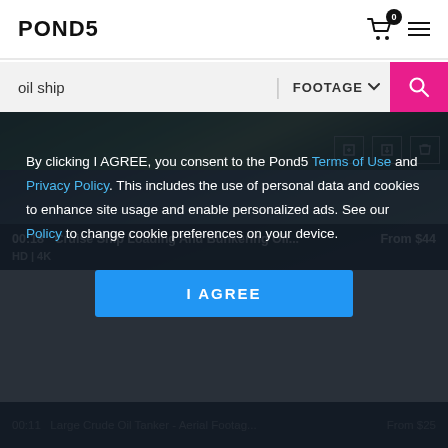[Figure (screenshot): Pond5 website header with logo and cart/menu icons]
oil ship
FOOTAGE
[Figure (photo): Partial aerial view of oil ship/vessel from above]
00:18   Cruise Ship Loading And Bunkering Oil...   From $44
HD | 4K
By clicking I AGREE, you consent to the Pond5 Terms of Use and Privacy Policy. This includes the use of personal data and cookies to enhance site usage and enable personalized ads. See our Policy to change cookie preferences on your device.
I AGREE
00:11   Large Crude Oil Tanker - Aerial Footag...   From $25